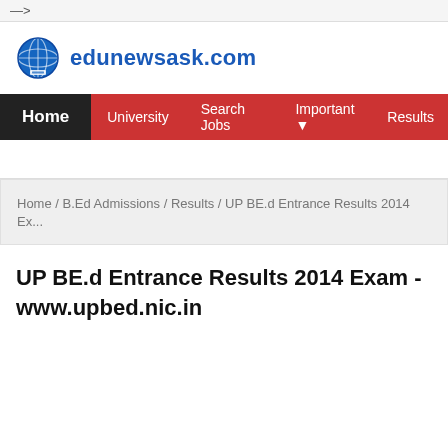-->
[Figure (logo): Globe icon logo for edunewsask.com with blue globe graphic and bold blue text]
Home / University / Search Jobs / Important / Results
Home / B.Ed Admissions / Results / UP BE.d Entrance Results 2014 Ex...
UP BE.d Entrance Results 2014 Exam - www.upbed.nic.in